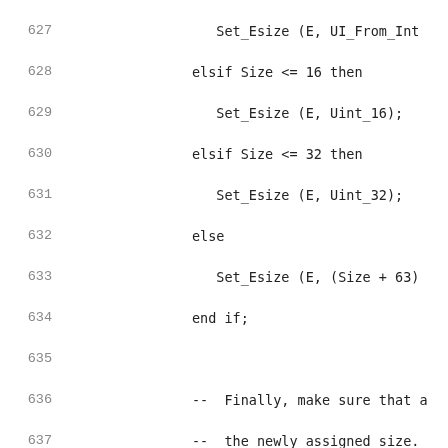Code listing lines 627-648 showing Ada/SPARK code with conditional size assignment and alignment loop